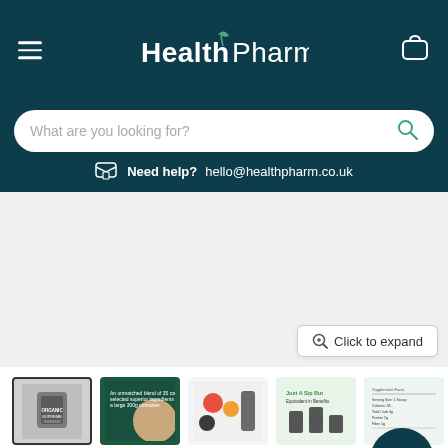[Figure (logo): HealthPharm logo with leaf icon on dark teal background header with hamburger menu and cart icon]
What are you looking for?
Need help?  hello@healthpharm.co.uk
[Figure (photo): Product image area showing organic greens powder product, light grey background]
Click to expand
[Figure (photo): Five product thumbnail images: jar of Organic Supreme Greens, marketing image with woman, fruits/veggies with product, nutrition info graphic, nutrition label]
By: Feel Supreme
SKU TROP-FEL015